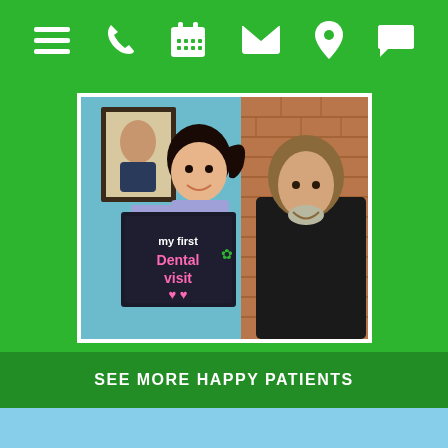Navigation bar with menu, phone, calendar, email, location, and chat icons
[Figure (photo): A young girl holding a chalkboard sign reading 'my first dental visit' with hearts, standing next to a smiling male dentist in a dark lab coat, inside a dental office with brick wall and framed portrait in background.]
SEE MORE HAPPY PATIENTS